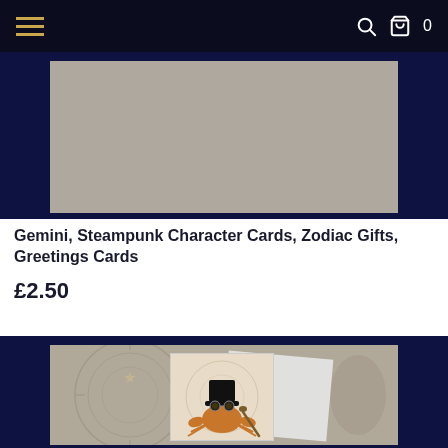Navigation bar with hamburger menu, search icon, cart icon, and cart count 0
[Figure (photo): Top portion of a product listing showing a steampunk greetings card on a dark navy background with a grey inner area - partially cut off at top]
Gemini, Steampunk Character Cards, Zodiac Gifts, Greetings Cards
£2.50
[Figure (photo): Second product image showing a steampunk crab or lobster character wearing a black bowler hat with goggles, standing in front of a zodiac/clock wheel background, displayed as a greeting card on a navy blue background]